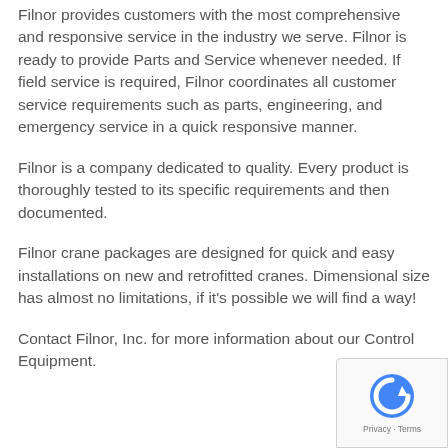Filnor provides customers with the most comprehensive and responsive service in the industry we serve. Filnor is ready to provide Parts and Service whenever needed. If field service is required, Filnor coordinates all customer service requirements such as parts, engineering, and emergency service in a quick responsive manner.
Filnor is a company dedicated to quality. Every product is thoroughly tested to its specific requirements and then documented.
Filnor crane packages are designed for quick and easy installations on new and retrofitted cranes. Dimensional size has almost no limitations, if it’s possible we will find a way!
Contact Filnor, Inc. for more information about our Control Equipment.